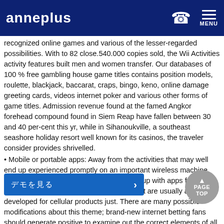anneplus | MENU
recognized online games and various of the lesser-regarded possibilities. With to 82 close.540.000 copies sold, the Wii Activities activity features built men and women transfer. Our databases of 100 % free gambling house game titles contains position models, roulette, blackjack, baccarat, craps, bingo, keno, online damage greeting cards, videos internet poker and various other forms of game titles. Admission revenue found at the famed Angkor forehead compound found in Siem Reap have fallen between 30 and 40 per-cent this yr, while in Sihanoukville, a southeast seashore holiday resort well known for its casinos, the traveler consider provides shrivelled.
Mobile or portable apps: Away from the activities that may well end up experienced promptly on an important wireless machine, different online casinos possess can come up with apps for the phones offering numerous video games that are usually altered or developed for cellular products just. There are many possible modifications about this theme; brand-new internet betting fans should generate positive to examine out the correct elements of all the best on-line internet casino sites. Slot machine city casino slot device h... slot games for free.
O... y out a lot of video poker machines built by means of organizations love IGT, WMS, Aristocrat and Bally. Since